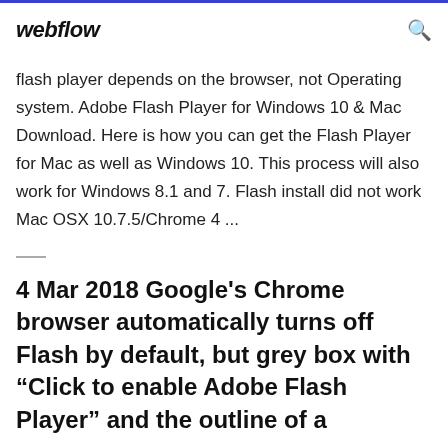webflow
flash player depends on the browser, not Operating system. Adobe Flash Player for Windows 10 & Mac Download. Here is how you can get the Flash Player for Mac as well as Windows 10. This process will also work for Windows 8.1 and 7. Flash install did not work Mac OSX 10.7.5/Chrome 4 ...
4 Mar 2018 Google's Chrome browser automatically turns off Flash by default, but grey box with “Click to enable Adobe Flash Player” and the outline of a